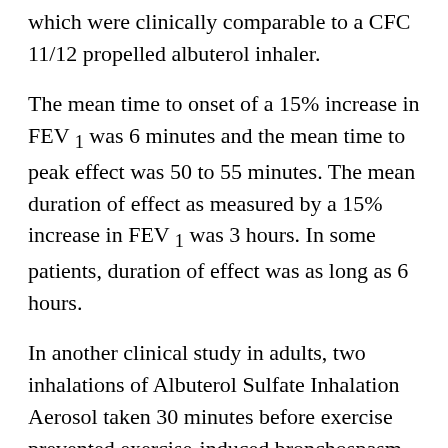which were clinically comparable to a CFC 11/12 propelled albuterol inhaler.
The mean time to onset of a 15% increase in FEV1 was 6 minutes and the mean time to peak effect was 50 to 55 minutes. The mean duration of effect as measured by a 15% increase in FEV1 was 3 hours. In some patients, duration of effect was as long as 6 hours.
In another clinical study in adults, two inhalations of Albuterol Sulfate Inhalation Aerosol taken 30 minutes before exercise prevented exercise-induced bronchospasm as demonstrated by the maintenance of FEV1 within 80% of baseline values in the majority of patients.